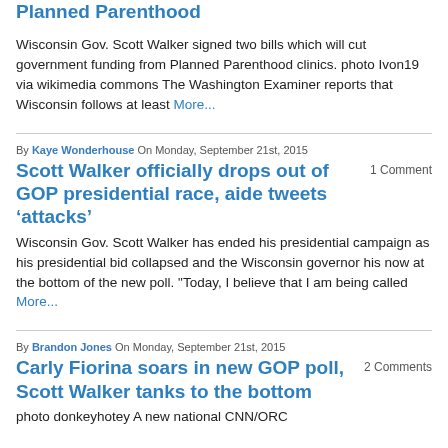Planned Parenthood
Wisconsin Gov. Scott Walker signed two bills which will cut government funding from Planned Parenthood clinics. photo Ivon19 via wikimedia commons The Washington Examiner reports that Wisconsin follows at least More...
By Kaye Wonderhouse On Monday, September 21st, 2015
Scott Walker officially drops out of GOP presidential race, aide tweets ‘attacks’
1 Comment
Wisconsin Gov. Scott Walker has ended his presidential campaign as his presidential bid collapsed and the Wisconsin governor his now at the bottom of the new poll. "Today, I believe that I am being called More...
By Brandon Jones On Monday, September 21st, 2015
Carly Fiorina soars in new GOP poll, Scott Walker tanks to the bottom
2 Comments
photo donkeyhotey A new national CNN/ORC